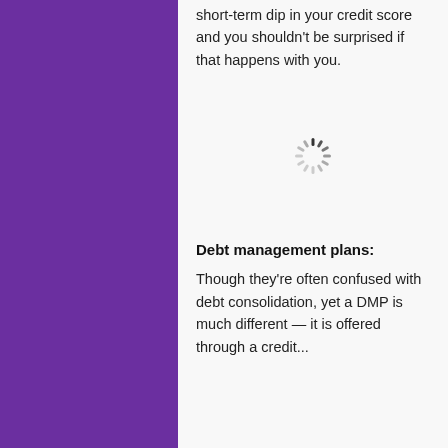short-term dip in your credit score and you shouldn't be surprised if that happens with you.
[Figure (other): Loading spinner / activity indicator shown in center of page]
Debt management plans:
Though they're often confused with debt consolidation, yet a DMP is much different — it is offered through a credit...